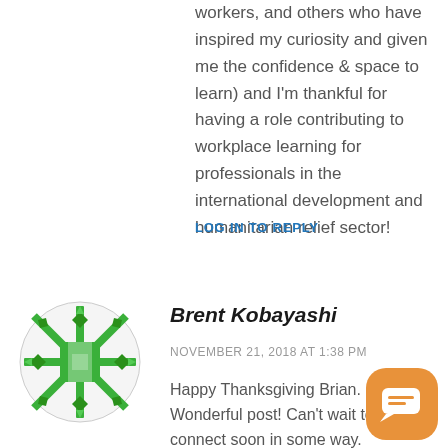workers, and others who have inspired my curiosity and given me the confidence & space to learn) and I'm thankful for having a role contributing to workplace learning for professionals in the international development and humanitarian relief sector!
LOG IN TO REPLY
[Figure (illustration): Green geometric snowflake/mandala avatar image for Brent Kobayashi]
Brent Kobayashi
NOVEMBER 21, 2018 AT 1:38 PM
Happy Thanksgiving Brian. Wonderful post! Can't wait to connect soon in some way.
[Figure (illustration): Orange rounded chat bubble button with chat icon]